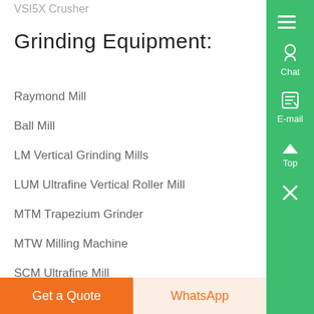VSI5X Crusher
Grinding Equipment:
Raymond Mill
Ball Mill
LM Vertical Grinding Mills
LUM Ultrafine Vertical Roller Mill
MTM Trapezium Grinder
MTW Milling Machine
SCM Ultrafine Mill
T130X Reinforced Ultrafine Mill